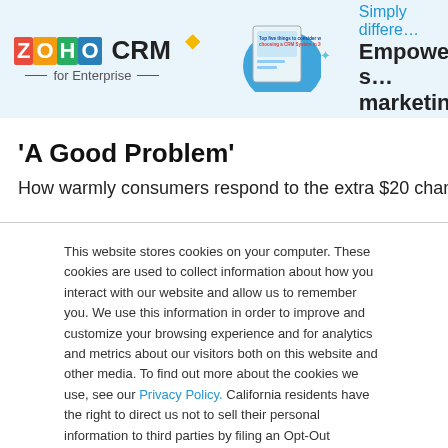[Figure (logo): Zoho CRM for Enterprise banner advertisement with book graphic and text 'Simply different... Empower s... marketing']
'A Good Problem'
How warmly consumers respond to the extra $20 charge for
This website stores cookies on your computer. These cookies are used to collect information about how you interact with our website and allow us to remember you. We use this information in order to improve and customize your browsing experience and for analytics and metrics about our visitors both on this website and other media. To find out more about the cookies we use, see our Privacy Policy. California residents have the right to direct us not to sell their personal information to third parties by filing an Opt-Out Request: Do Not Sell My Personal Info.